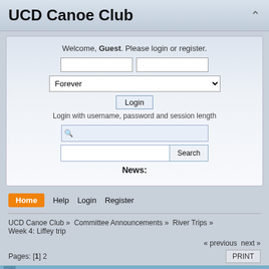UCD Canoe Club
Welcome, Guest. Please login or register.
Login with username, password and session length
News:
Home  Help  Login  Register
UCD Canoe Club » Committee Announcements » River Trips » Week 4: Liffey trip
« previous next »
Pages: [1] 2
PRINT